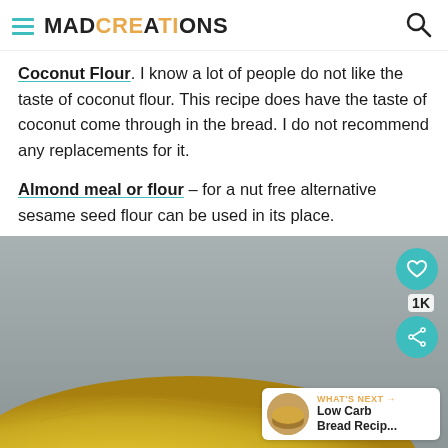MAD CREATIONS
Coconut Flour. I know a lot of people do not like the taste of coconut flour. This recipe does have the taste of coconut come through in the bread. I do not recommend any replacements for it.
Almond meal or flour – for a nut free alternative sesame seed flour can be used in its place.
[Figure (photo): Close-up photo of a yellow/golden low carb bread loaf against a grey background, with social share overlay buttons (heart icon, 1K count, share icon) and a 'What's Next' banner showing Low Carb Bread Recipe thumbnail.]